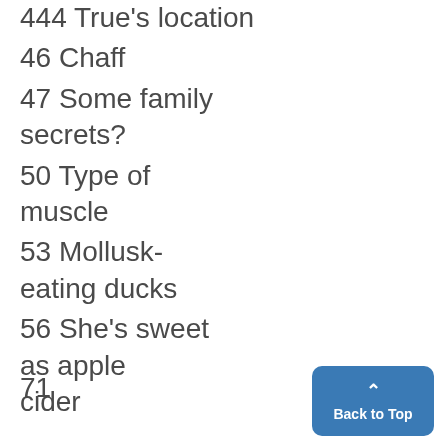444 True's location
46 Chaff
47 Some family secrets?
50 Type of muscle
53 Mollusk-eating ducks
56 She's sweet as apple cider
71
Back to Top